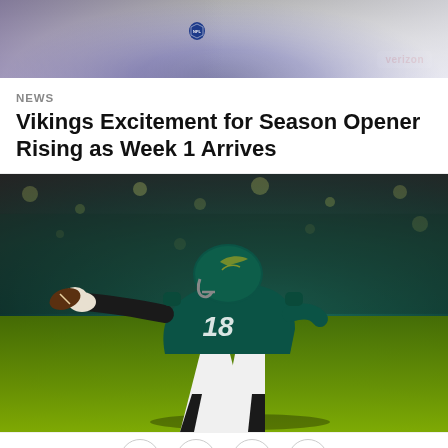[Figure (photo): NFL player in white Minnesota Vikings jersey with Verizon sponsor logo visible, cropped at torso level]
NEWS
Vikings Excitement for Season Opener Rising as Week 1 Arrives
[Figure (photo): Philadelphia Eagles player wearing teal jersey number 18, making a catch or reaching for a football on the field with blurred crowd in background]
[Figure (infographic): Social sharing buttons: Facebook, Twitter, Email, Link/copy]